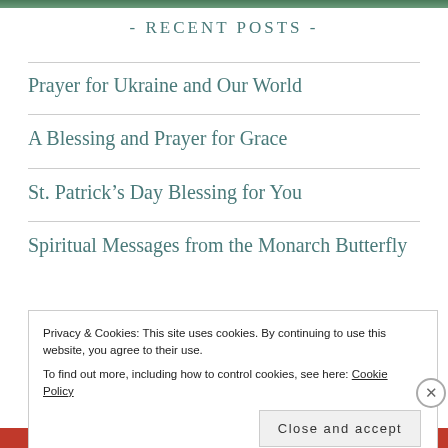[Figure (photo): Top image bar strip from a nature/forest photo]
- Recent Posts -
Prayer for Ukraine and Our World
A Blessing and Prayer for Grace
St. Patrick's Day Blessing for You
Spiritual Messages from the Monarch Butterfly
Privacy & Cookies: This site uses cookies. By continuing to use this website, you agree to their use.
To find out more, including how to control cookies, see here: Cookie Policy
Close and accept